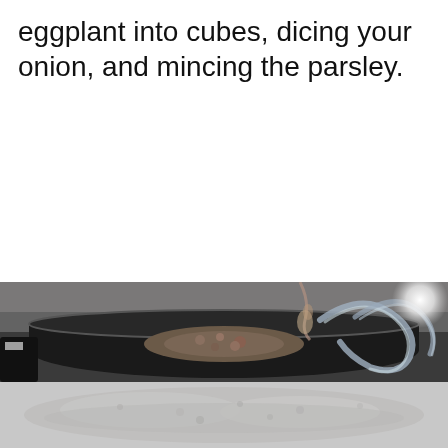eggplant into cubes, dicing your onion, and mincing the parsley.
[Figure (photo): A dark non-stick frying pan on a stove with food being cooked or added, glass handles visible, with a bright light reflection in the upper right. Below the pan is a light-colored mixture or ingredient.]